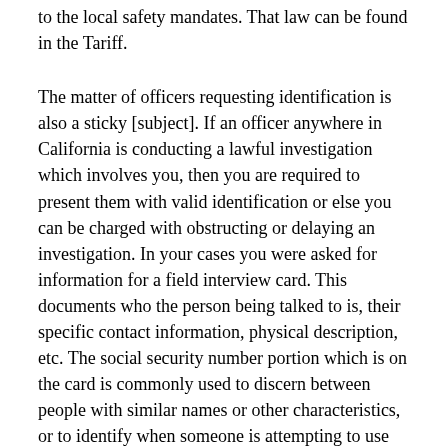to the local safety mandates. That law can be found in the Tariff.
The matter of officers requesting identification is also a sticky [subject]. If an officer anywhere in California is conducting a lawful investigation which involves you, then you are required to present them with valid identification or else you can be charged with obstructing or delaying an investigation. In your cases you were asked for information for a field interview card. This documents who the person being talked to is, their specific contact information, physical description, etc. The social security number portion which is on the card is commonly used to discern between people with similar names or other characteristics, or to identify when someone is attempting to use someone elses basic information when they have committed a crime.